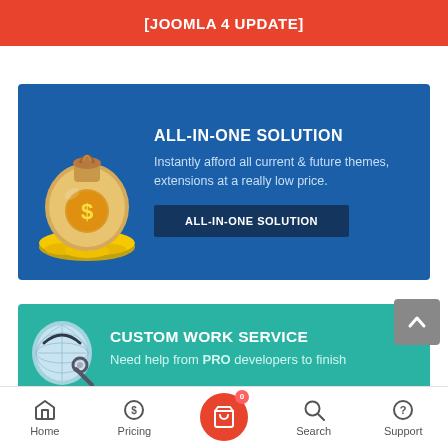[JOOMLA 4 UPDATE]
[Figure (infographic): ALL-IN-ONE SOLUTION blue card with coin bag illustration and button]
ALL-IN-ONE SOLUTION
Instantly afford all current & future themes, extensions at a really low price.
ALL-IN-ONE SOLUTION
[Figure (infographic): CUSTOM WORK SERVICE teal card with globe/wrench illustration]
CUSTOM WORK SERVICE
Need help from PRO developers to finish
Home  Pricing  [Cart 0]  Search  Support